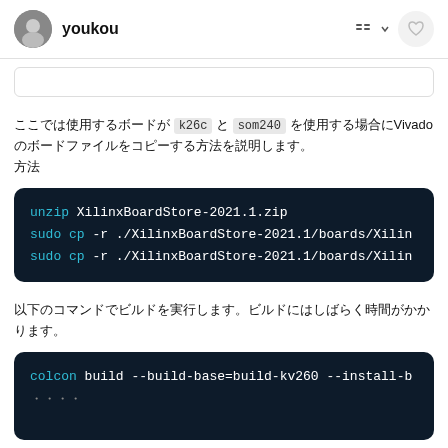youkou
ここでは使用するボードが k26c と som240 を使用する場合にVivadoのボードファイルをコピーする方法を説明します。
[Figure (screenshot): Dark code block showing terminal commands: unzip XilinxBoardStore-2021.1.zip, sudo cp -r ./XilinxBoardStore-2021.1/boards/Xilin..., sudo cp -r ./XilinxBoardStore-2021.1/boards/Xilin...]
以下のコマンドでビルドを実行します。ビルドにはしばらく時間がかかります。
[Figure (screenshot): Dark code block showing: colcon build --build-base=build-kv260 --install-b...]